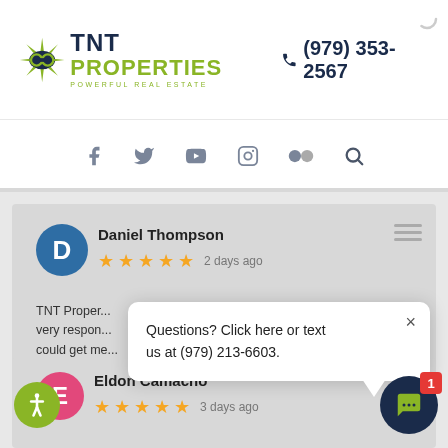[Figure (logo): TNT Properties logo with star icon, 'TNT PROPERTIES POWERFUL REAL ESTATE' text, and phone number (979) 353-2567]
[Figure (infographic): Social media icon bar: Facebook, Twitter, YouTube, Instagram, Flickr, Search]
Daniel Thompson
★★★★★ 2 days ago
TNT Proper... very respon... could get me... and efficient...
Questions? Click here or text us at (979) 213-6603.
Eldon Camacho
★★★★★ 3 days ago